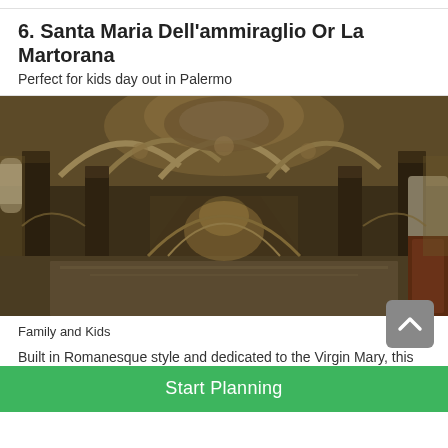6. Santa Maria Dell'ammiraglio Or La Martorana
Perfect for kids day out in Palermo
[Figure (photo): Interior of Santa Maria Dell'ammiraglio (La Martorana) church in Palermo, showing ornate Romanesque architecture with tall columns, arched ceilings covered in rich golden mosaics and frescoes, and a view down the nave toward the altar.]
Family and Kids
Built in Romanesque style and dedicated to the Virgin Mary, this Chiesa della Martorana in Palermo dates from 1143 and is famed for its